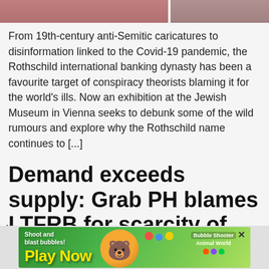[Figure (photo): Two partial images at top of page — left portion showing reddish/brownish tones, right portion showing similar warm tones]
From 19th-century anti-Semitic caricatures to disinformation linked to the Covid-19 pandemic, the Rothschild international banking dynasty has been a favourite target of conspiracy theorists blaming it for the world's ills. Now an exhibition at the Jewish Museum in Vienna seeks to debunk some of the wild rumours and explore why the Rothschild name continues to [...]
Demand exceeds supply: Grab PH blames LTFRB for scarcity of cars hailed by clients
[Figure (screenshot): Mobile game advertisement banner — 'Shoot and blast bubbles! Play Now' with cartoon bear character and 'Bubble Shooter Animal World' game branding on green background]